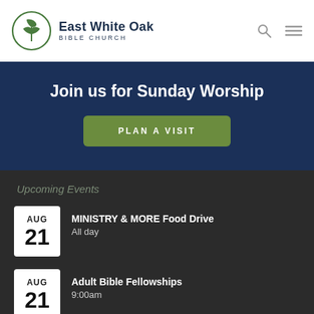[Figure (logo): East White Oak Bible Church logo — circular green leaf/plant icon on the left, with bold dark navy text 'East White Oak' and smaller spaced text 'BIBLE CHURCH' on the right. Search and hamburger menu icons on the far right.]
Join us for Sunday Worship
PLAN A VISIT
Upcoming Events
AUG 21 — MINISTRY & MORE Food Drive — All day
AUG 21 — Adult Bible Fellowships — 9:00am